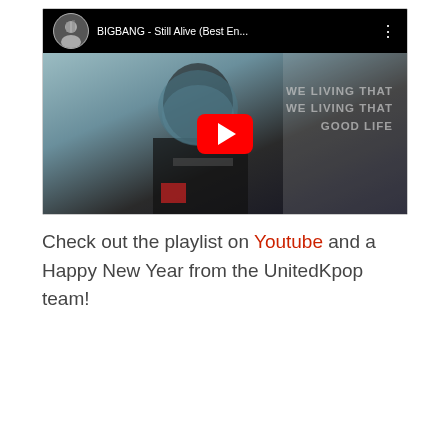[Figure (screenshot): YouTube video embed showing BIGBANG - Still Alive (Best En...) with a red play button overlay. The thumbnail shows a person in dark clothing with overlaid text 'WE LIVING THAT WE LIVING THAT GOOD LIFE'. A channel avatar and video title are shown in the header bar.]
Check out the playlist on Youtube and a Happy New Year from the UnitedKpop team!